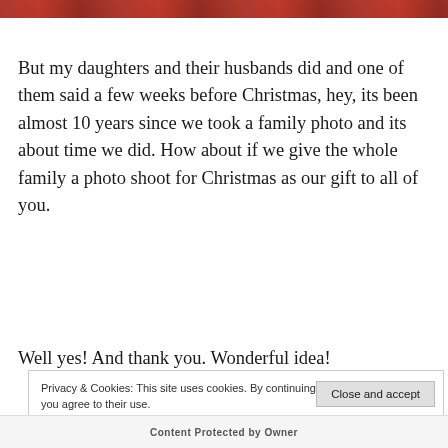[Figure (photo): Partial top strip of a family photo, cropped, showing red/warm tones at the very top of the page]
But my daughters and their husbands did and one of them said a few weeks before Christmas, hey, its been almost 10 years since we took a family photo and its about time we did. How about if we give the whole family a photo shoot for Christmas as our gift to all of you.
Well yes! And thank you. Wonderful idea!
Privacy & Cookies: This site uses cookies. By continuing to use this website, you agree to their use. To find out more, including how to control cookies, see here: Cookie Policy
Content Protected by Owner